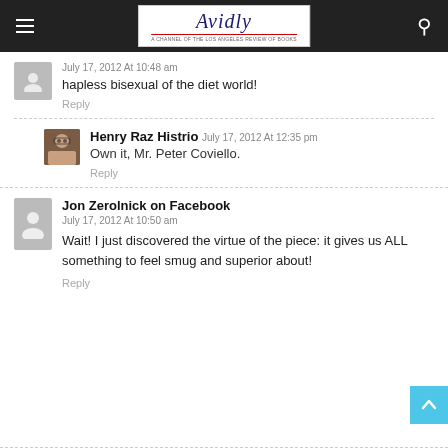Avidly
July 17, 2012 At 10:48 am
hapless bisexual of the diet world!
Reply
Henry Raz Histrio  July 17, 2012 At 12:35 pm
Own it, Mr. Peter Coviello.
Reply
Jon Zerolnick on Facebook
July 17, 2012 At 10:50 am
Wait! I just discovered the virtue of the piece: it gives us ALL something to feel smug and superior about!
Reply